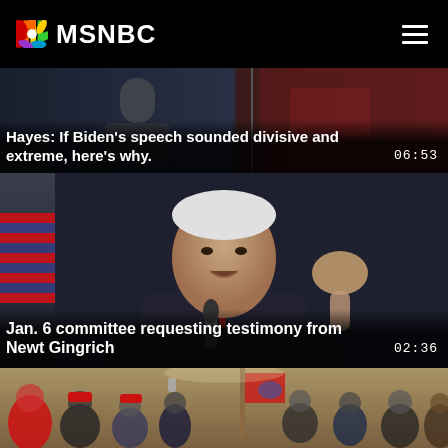MSNBC
[Figure (screenshot): Video thumbnail showing a news anchor or pundit, partially visible, with dark background. Overlay text: Hayes: If Biden's speech sounded divisive and extreme, here's why. Duration: 06:53]
Hayes: If Biden's speech sounded divisive and extreme, here's why.
[Figure (screenshot): Video thumbnail of Newt Gingrich speaking at a podium with microphone, hands raised, American flag visible in the background to the left. Overlay text: Jan. 6 committee requesting testimony from Newt Gingrich. Duration: 02:36]
Jan. 6 committee requesting testimony from Newt Gingrich
[Figure (screenshot): Video thumbnail showing a crowd of people inside what appears to be a government building hallway, many wearing red hats and holding flags, phones raised — appears to be January 6th Capitol riot footage.]